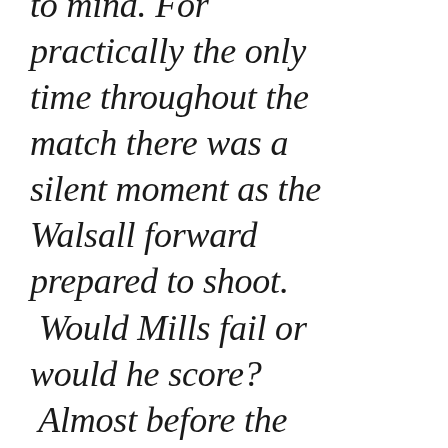to mind. For practically the only time throughout the match there was a silent moment as the Walsall forward prepared to shoot. Would Mills fail or would he score? Almost before the questions could frame themselves Mills had registered probably the most memoral goal he will ever get